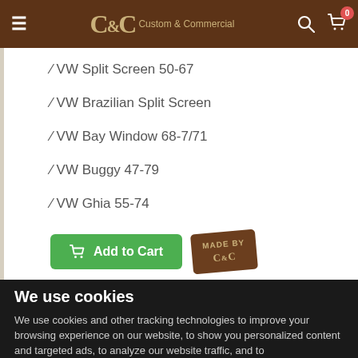C&C Custom & Commercial
/ VW Split Screen 50-67
/ VW Brazilian Split Screen
/ VW Bay Window 68-7/71
/ VW Buggy 47-79
/ VW Ghia 55-74
Add to Cart
We use cookies
We use cookies and other tracking technologies to improve your browsing experience on our website, to show you personalized content and targeted ads, to analyze our website traffic, and to